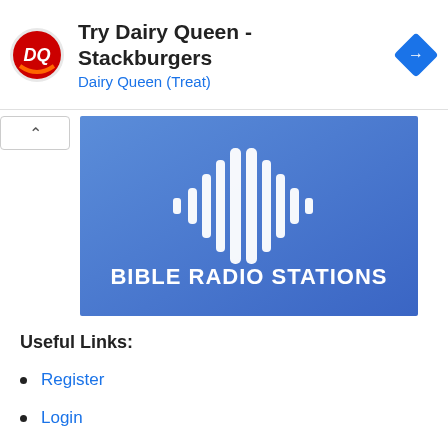[Figure (screenshot): Dairy Queen advertisement banner with DQ logo, text 'Try Dairy Queen - Stackburgers' and 'Dairy Queen (Treat)', blue navigation arrow icon on right]
[Figure (logo): Bible Radio Stations logo: blue gradient background with white soundwave/waveform icon and text 'BIBLE RADIO STATIONS' in white bold letters]
Useful Links:
Register
Login